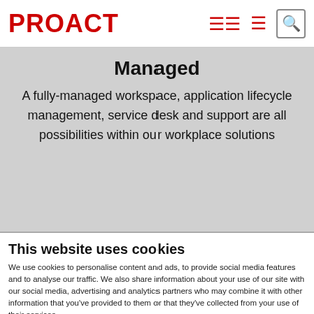PROACT
Managed
A fully-managed workspace, application lifecycle management, service desk and support are all possibilities within our workplace solutions
This website uses cookies
We use cookies to personalise content and ads, to provide social media features and to analyse our traffic. We also share information about your use of our site with our social media, advertising and analytics partners who may combine it with other information that you've provided to them or that they've collected from your use of their services.
Allow selection | Allow all cookies
Necessary | Preferences | Statistics | Marketing | Show details